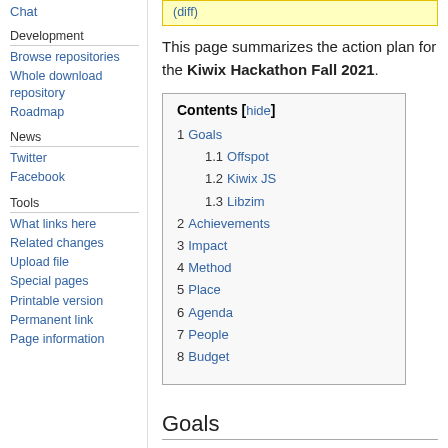(diff)
This page summarizes the action plan for the Kiwix Hackathon Fall 2021.
Development
Browse repositories
Whole download repository
Roadmap
News
Twitter
Facebook
Tools
What links here
Related changes
Upload file
Special pages
Printable version
Permanent link
Page information
| Contents [hide] |
| --- |
| 1 Goals |
| 1.1 Offspot |
| 1.2 Kiwix JS |
| 1.3 Libzim |
| 2 Achievements |
| 3 Impact |
| 4 Method |
| 5 Place |
| 6 Agenda |
| 7 People |
| 8 Budget |
Goals